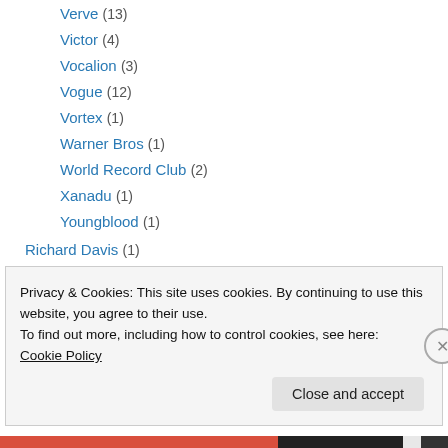Verve (13)
Victor (4)
Vocalion (3)
Vogue (12)
Vortex (1)
Warner Bros (1)
World Record Club (2)
Xanadu (1)
Youngblood (1)
Richard Davis (1)
Spoof (6)
Elvis (1)
Stereo (3)
The Evil Silver Disc (5)
Privacy & Cookies: This site uses cookies. By continuing to use this website, you agree to their use. To find out more, including how to control cookies, see here: Cookie Policy
Close and accept